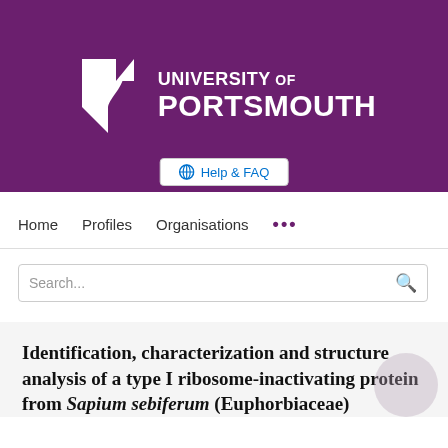[Figure (logo): University of Portsmouth logo — white shield/bookmark shape on purple background with text UNIVERSITY OF PORTSMOUTH in white]
Help & FAQ
Home   Profiles   Organisations   ...
Search...
Identification, characterization and structure analysis of a type I ribosome-inactivating protein from Sapium sebiferum (Euphorbiaceae)